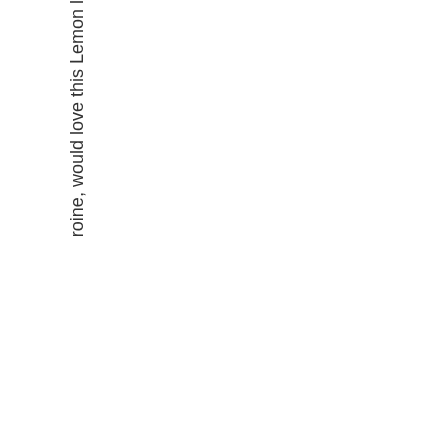roine, would love this Lemon l